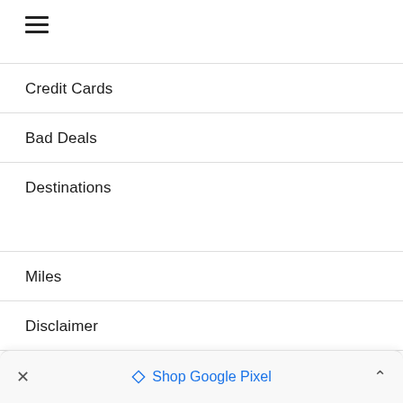[Figure (other): Hamburger menu icon (three horizontal lines)]
Credit Cards
Bad Deals
Destinations
Miles
Disclaimer
Privacy Policy
✕   🔷 Shop Google Pixel   ˄